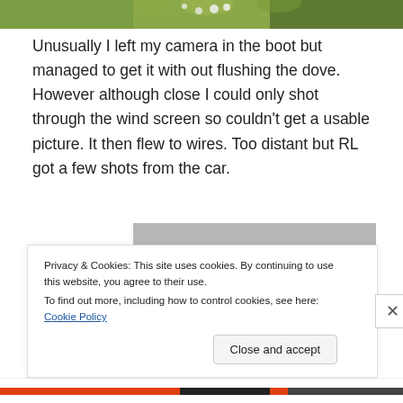[Figure (photo): Top portion of an outdoor photo showing green foliage and white flowers at the top of the page.]
Unusually I left my camera in the boot but managed to get it with out flushing the dove. However although close I could only shot through the wind screen so couldn’t get a usable picture. It then flew to wires. Too distant but RL got a few shots from the car.
[Figure (photo): A photo of a bird (dove) on wires against a grey sky background. The bird appears as a dark shape near the bottom of the frame.]
Privacy & Cookies: This site uses cookies. By continuing to use this website, you agree to their use.
To find out more, including how to control cookies, see here: Cookie Policy
Close and accept